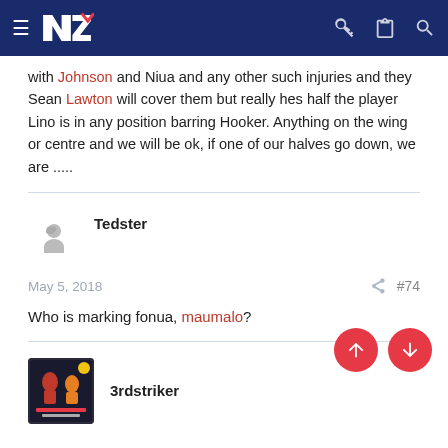Navigation bar with logo NZ and icons
with Johnson and Niua and any other such injuries and they Sean Lawton will cover them but really hes half the player Lino is in any position barring Hooker. Anything on the wing or centre and we will be ok, if one of our halves go down, we are .....
Tedster
May 5, 2018   #74
Who is marking fonua, maumalo?
3rdstriker